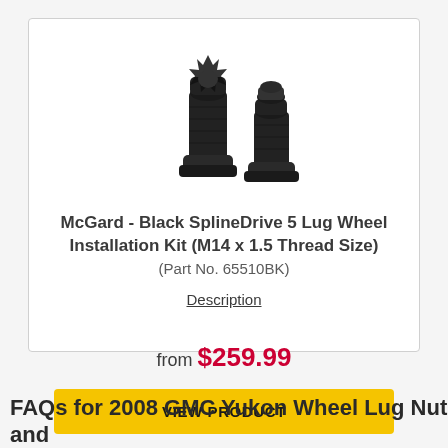[Figure (photo): Two black McGard SplineDrive lug nuts/bolts shown side by side on white background]
McGard - Black SplineDrive 5 Lug Wheel Installation Kit (M14 x 1.5 Thread Size)
(Part No. 65510BK)
Description
from $259.99
VIEW PRODUCT
FAQs for 2008 GMC Yukon Wheel Lug Nut and